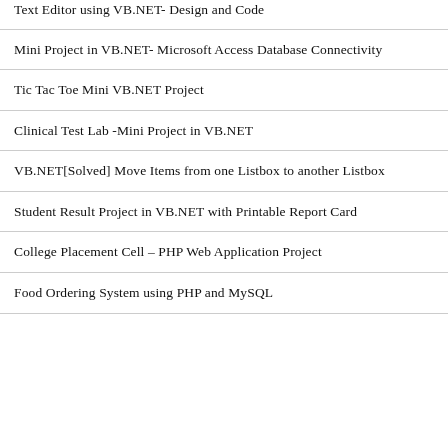Text Editor using VB.NET- Design and Code
Mini Project in VB.NET- Microsoft Access Database Connectivity
Tic Tac Toe Mini VB.NET Project
Clinical Test Lab -Mini Project in VB.NET
VB.NET[Solved] Move Items from one Listbox to another Listbox
Student Result Project in VB.NET with Printable Report Card
College Placement Cell – PHP Web Application Project
Food Ordering System using PHP and MySQL